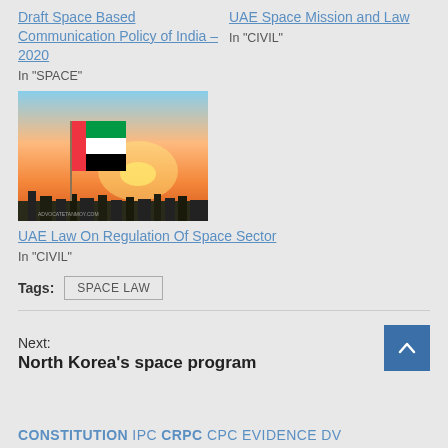Draft Space Based Communication Policy of India – 2020
In "SPACE"
UAE Space Mission and Law
In "CIVIL"
[Figure (photo): Photo of UAE flag waving against a sunset sky with silhouetted buildings]
UAE Law On Regulation Of Space Sector
In "CIVIL"
Tags: SPACE LAW
Next:
North Korea's space program
CONSTITUTION IPC CRPC CPC EVIDENCE DV